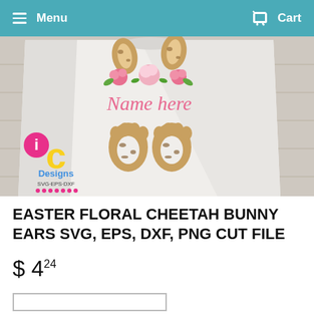Menu  Cart
[Figure (photo): Product mockup photo showing a white t-shirt with Easter floral cheetah bunny ears design featuring 'Name here' text, roses, and cheetah print bunny feet, displayed on a wooden surface. IC Designs SVG EPS DXF logo visible in bottom left.]
EASTER FLORAL CHEETAH BUNNY EARS SVG, EPS, DXF, PNG CUT FILE
$ 4.24